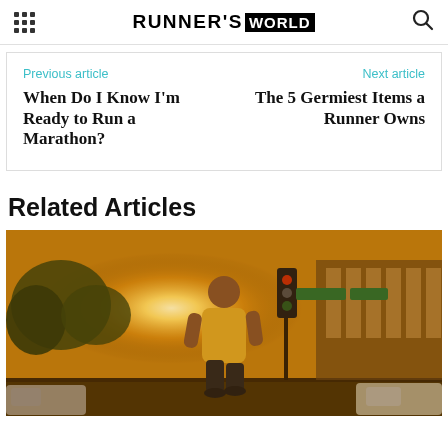RUNNER'S WORLD
Previous article
When Do I Know I'm Ready to Run a Marathon?
Next article
The 5 Germiest Items a Runner Owns
Related Articles
[Figure (photo): A man in a yellow t-shirt running on a city street at sunset/golden hour, with traffic lights, trees, and buildings in the background.]